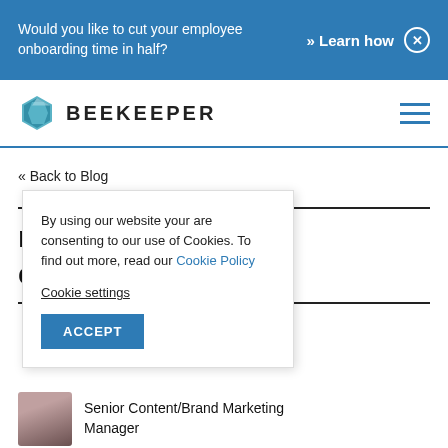Would you like to cut your employee onboarding time in half? » Learn how
[Figure (logo): Beekeeper logo with hexagon gem icon and wordmark BEEKEEPER]
« Back to Blog
ngs? A Digital e Answer.
By using our website your are consenting to our use of Cookies. To find out more, read our Cookie Policy
Cookie settings
ACCEPT
Senior Content/Brand Marketing Manager